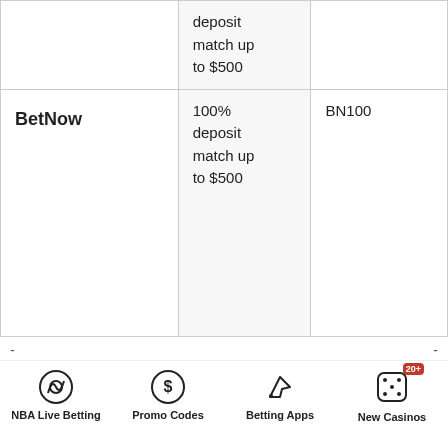|  | Bonus | Code |
| --- | --- | --- |
|  | deposit match up to $500 |  |
| BetNow | 100% deposit match up to $500 | BN100 |
NBA Live Betting   Promo Codes   Betting Apps   New Casinos 20+